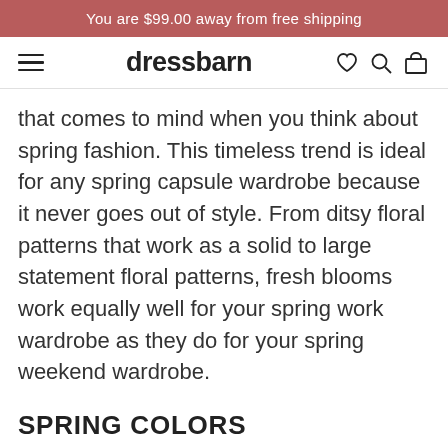You are $99.00 away from free shipping
[Figure (logo): Dressbarn navigation bar with hamburger menu, dressbarn logo, and icons for wishlist, search, and cart]
that comes to mind when you think about spring fashion. This timeless trend is ideal for any spring capsule wardrobe because it never goes out of style. From ditsy floral patterns that work as a solid to large statement floral patterns, fresh blooms work equally well for your spring work wardrobe as they do for your spring weekend wardrobe.
SPRING COLORS